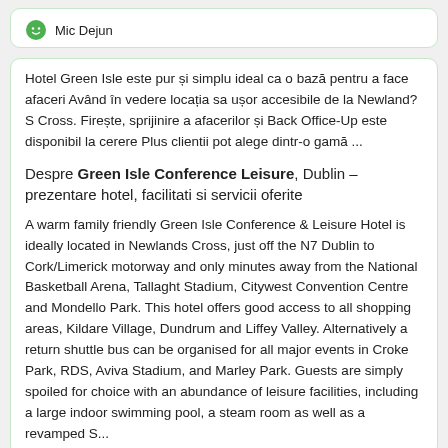Mic Dejun
Hotel Green Isle este pur și simplu ideal ca o bază pentru a face afaceri Având în vedere locația sa ușor accesibile de la Newland? S Cross. Firește, sprijinire a afacerilor și Back Office-Up este disponibil la cerere Plus clientii pot alege dintr-o gamă ...
Despre Green Isle Conference Leisure, Dublin – prezentare hotel, facilitati si servicii oferite
A warm family friendly Green Isle Conference & Leisure Hotel is ideally located in Newlands Cross, just off the N7 Dublin to Cork/Limerick motorway and only minutes away from the National Basketball Arena, Tallaght Stadium, Citywest Convention Centre and Mondello Park. This hotel offers good access to all shopping areas, Kildare Village, Dundrum and Liffey Valley. Alternatively a return shuttle bus can be organised for all major events in Croke Park, RDS, Aviva Stadium, and Marley Park. Guests are simply spoiled for choice with an abundance of leisure facilities, including a large indoor swimming pool, a steam room as well as a revamped S...